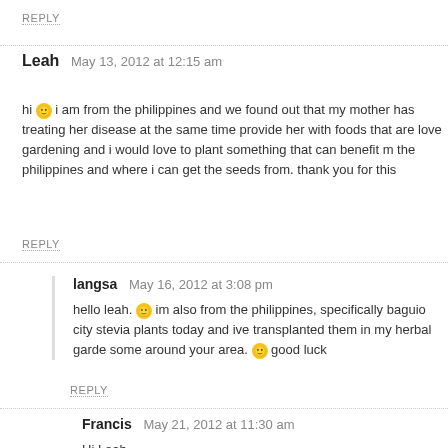REPLY
Leah  May 13, 2012 at 12:15 am
hi 🙂 i am from the philippines and we found out that my mother has treating her disease at the same time provide her with foods that are love gardening and i would love to plant something that can benefit m the philippines and where i can get the seeds from. thank you for this
REPLY
langsa  May 16, 2012 at 3:08 pm
hello leah. 🙂 im also from the philippines, specifically baguio city stevia plants today and ive transplanted them in my herbal garde some around your area. 🙂 good luck
REPLY
Francis  May 21, 2012 at 11:30 am
Hi Leah,